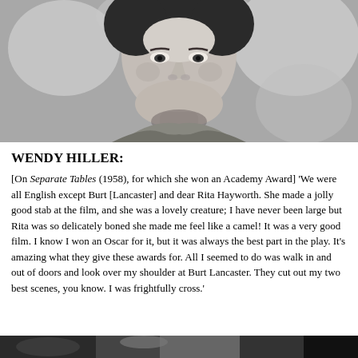[Figure (photo): Black and white portrait photograph of Wendy Hiller, showing her face and upper body against a light blurred background.]
WENDY HILLER:
[On Separate Tables (1958), for which she won an Academy Award] 'We were all English except Burt [Lancaster] and dear Rita Hayworth. She made a jolly good stab at the film, and she was a lovely creature; I have never been large but Rita was so delicately boned she made me feel like a camel! It was a very good film. I know I won an Oscar for it, but it was always the best part in the play. It's amazing what they give these awards for. All I seemed to do was walk in and out of doors and look over my shoulder at Burt Lancaster. They cut out my two best scenes, you know. I was frightfully cross.'
[Figure (photo): Bottom strip of another black and white photograph, partially visible at the bottom edge of the page.]